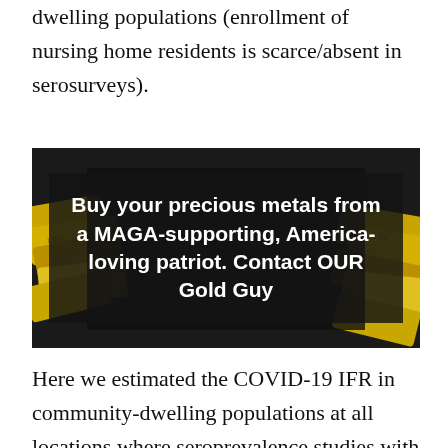dwelling populations (enrollment of nursing home residents is scarce/absent in serosurveys).
[Figure (illustration): Advertisement showing gold bars with text overlay: 'Buy your precious metals from a MAGA-supporting, America-loving patriot. Contact OUR Gold Guy']
Here we estimated the COVID-19 IFR in community-dwelling populations at all locations where seroprevalence studies with many elderly individuals have been conducted. Primary emphasis is on the IFR of the elderly. As a secondary analysis, we